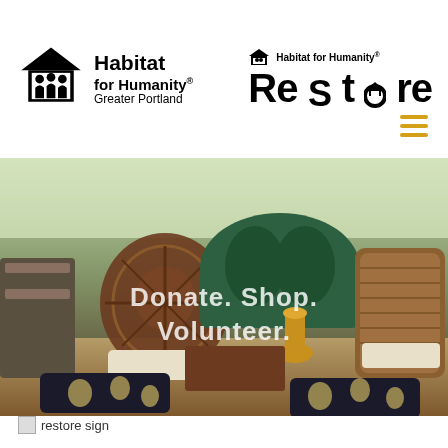[Figure (logo): Habitat for Humanity Greater Portland logo — house icon with people silhouettes, bold text 'Habitat for Humanity® Greater Portland']
[Figure (logo): Habitat for Humanity ReStore logo — small house icon with text 'Habitat for Humanity®' above large bold 'ReStore' with a house icon replacing the 'o']
[Figure (photo): Interior photo of a room with assorted furniture items including ornate wooden chairs, a green velvet sofa, wicker chairs, and black/gold patterned ottomans. Overlaid text reads 'Donate. Shop. Volunteer.']
restore sign